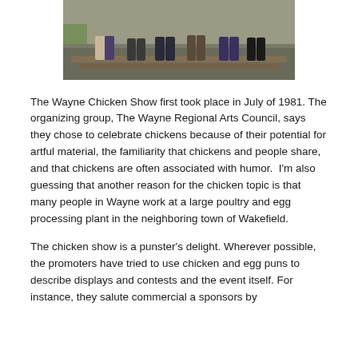[Figure (photo): Group of people standing on wooden beams/platforms outdoors, partial view showing legs and lower bodies]
The Wayne Chicken Show first took place in July of 1981. The organizing group, The Wayne Regional Arts Council, says they chose to celebrate chickens because of their potential for artful material, the familiarity that chickens and people share, and that chickens are often associated with humor.  I'm also guessing that another reason for the chicken topic is that many people in Wayne work at a large poultry and egg processing plant in the neighboring town of Wakefield.
The chicken show is a punster's delight. Wherever possible, the promoters have tried to use chicken and egg puns to describe displays and contests and the event itself. For instance, they salute commercial a sponsors by